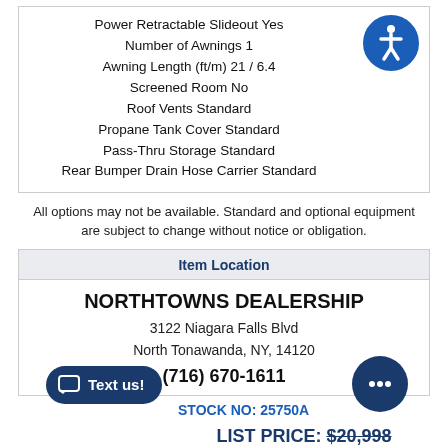Power Retractable Slideout Yes
Number of Awnings 1
Awning Length (ft/m) 21 / 6.4
Screened Room No
Roof Vents Standard
Propane Tank Cover Standard
Pass-Thru Storage Standard
Rear Bumper Drain Hose Carrier Standard
All options may not be available. Standard and optional equipment are subject to change without notice or obligation.
Item Location
NORTHTOWNS DEALERSHIP
3122 Niagara Falls Blvd
North Tonawanda, NY, 14120
(716) 670-1611
STOCK NO: 25750A
LIST PRICE: $20,998
SALE PRICE: $19,998